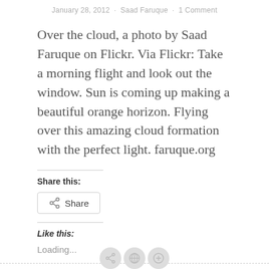January 28, 2012 · Saad Faruque · 1 Comment
Over the cloud, a photo by Saad Faruque on Flickr. Via Flickr: Take a morning flight and look out the window. Sun is coming up making a beautiful orange horizon. Flying over this amazing cloud formation with the perfect light. faruque.org
Share this:
Share
Like this:
Loading...